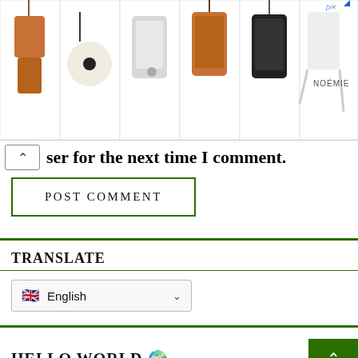[Figure (photo): Advertisement banner showing phone cases/accessories (crossbody phone pouches, leather cases with straps) from Noémie brand. Six product images in a row with brand name on the right side.]
ser for the next time I comment.
POST COMMENT
TRANSLATE
English
HELLO WORLD 🌍